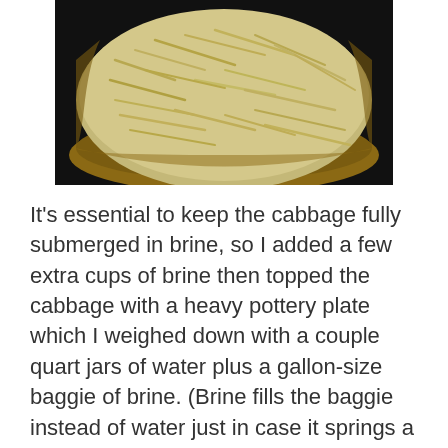[Figure (photo): A wooden or clay bowl filled with shredded cooked or fermented cabbage, viewed from above against a dark background.]
It's essential to keep the cabbage fully submerged in brine, so I added a few extra cups of brine then topped the cabbage with a heavy pottery plate which I weighed down with a couple quart jars of water plus a gallon-size baggie of brine. (Brine fills the baggie instead of water just in case it springs a leak.) The shredded cabbage is doing its